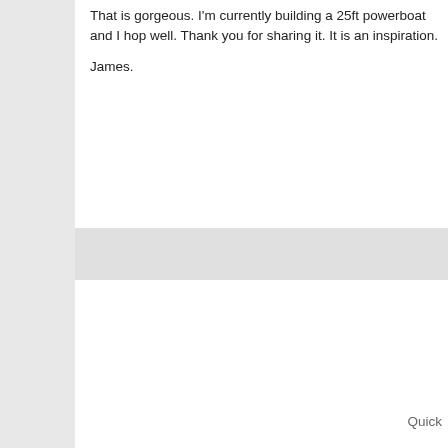That is gorgeous. I'm currently building a 25ft powerboat and I hop well. Thank you for sharing it. It is an inspiration.

James.
Quick
[Figure (photo): Advertisement banner showing a mountain biker performing a trick with text 'FOUNDED BY TRAILBL...' in bold red italic letters on a light blue sky background.]